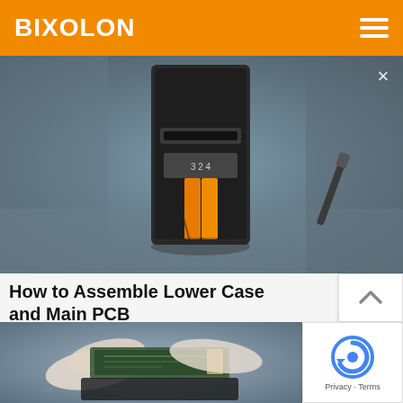BIXOLON
[Figure (screenshot): Video thumbnail showing a dark printer device with orange paper roll, viewed from front, on a grey background. A close (X) button is visible in the top right corner of the video.]
How to Assemble Lower Case and Main PCB
[Figure (screenshot): Video thumbnail showing gloved hands working on a PCB/circuit board assembly against a blue-grey background.]